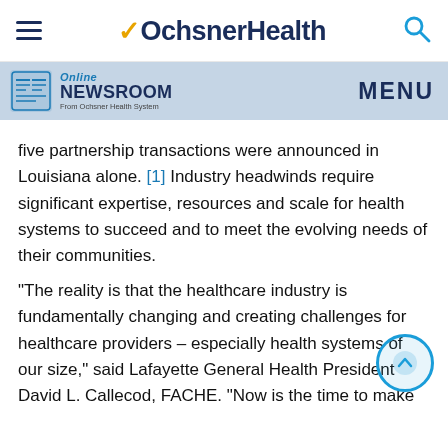Ochsner Health
[Figure (logo): Online Newsroom from Ochsner Health System logo with MENU text]
five partnership transactions were announced in Louisiana alone. [1] Industry headwinds require significant expertise, resources and scale for health systems to succeed and to meet the evolving needs of their communities.
“The reality is that the healthcare industry is fundamentally changing and creating challenges for healthcare providers – especially health systems of our size,” said Lafayette General Health President David L. Callecod, FACHE. “Now is the time to make